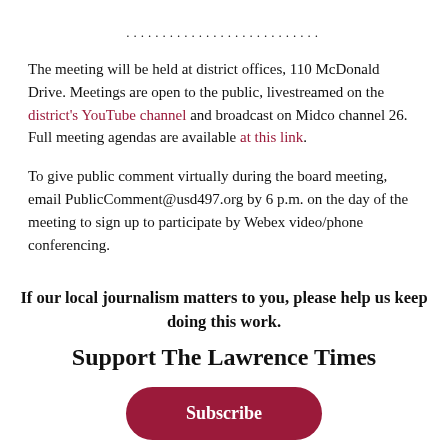The meeting will be held at district offices, 110 McDonald Drive. Meetings are open to the public, livestreamed on the district's YouTube channel and broadcast on Midco channel 26. Full meeting agendas are available at this link.
To give public comment virtually during the board meeting, email PublicComment@usd497.org by 6 p.m. on the day of the meeting to sign up to participate by Webex video/phone conferencing.
If our local journalism matters to you, please help us keep doing this work.
Support The Lawrence Times
Subscribe